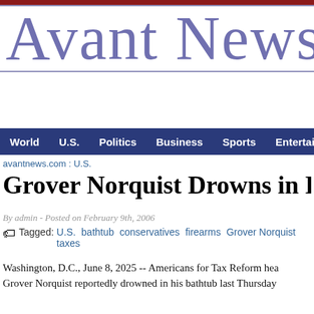Avant News
World  U.S.  Politics  Business  Sports  Entertainment
avantnews.com : U.S.
Grover Norquist Drowns in Bathtub
By admin - Posted on February 9th, 2006
Tagged: U.S.  bathtub  conservatives  firearms  Grover Norquist  taxes
Washington, D.C., June 8, 2025 -- Americans for Tax Reform head Grover Norquist reportedly drowned in his bathtub last Thursday